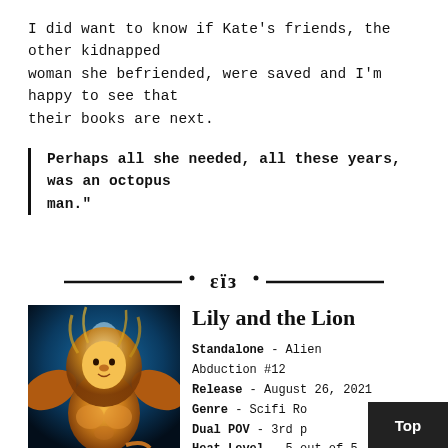I did want to know if Kate's friends, the other kidnapped woman she befriended, were saved and I'm happy to see that their books are next.
Perhaps all she needed, all these years, was an octopus man."
——·' ε ï з '·——
[Figure (illustration): Book cover showing a muscular lion-man hybrid with golden mane and glowing blue background]
Lily and the Lion
Standalone - Alien Abduction #12
Release - August 26, 2021
Genre - Scifi Ro...
Dual POV - 3rd p...
Heat Level - 5 out of 5